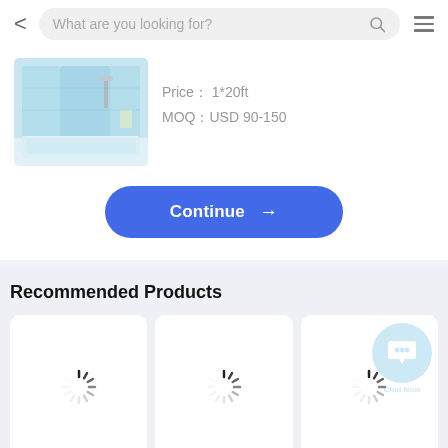What are you looking for?
[Figure (photo): Shower enclosure product photo showing a blue-tinted glass shower cabin]
Price： 1*20ft
MOQ：USD 90-150
Continue →
Recommended Products
[Figure (other): Loading spinner on white product card]
[Figure (other): Loading spinner on white product card]
[Figure (other): Loading spinner on white product card with Chat Now overlay]